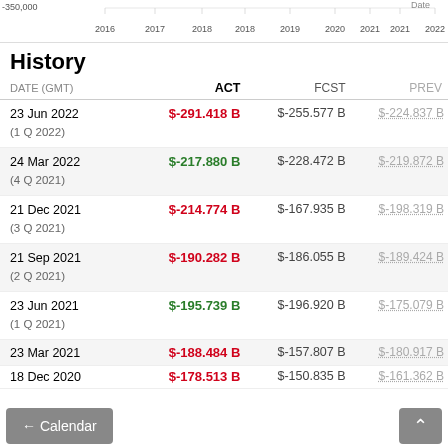[Figure (continuous-plot): Partial bottom of a line/area chart showing x-axis with years: 2016, 2017, 2018, 2018, 2019, 2020, 2021, 2021, 2022. Y-axis value visible: -350,000. Label 'Date' on top right.]
History
| DATE (GMT) | ACT | FCST | PREV |
| --- | --- | --- | --- |
| 23 Jun 2022 (1 Q 2022) | $-291.418 B | $-255.577 B | $-224.837 B |
| 24 Mar 2022 (4 Q 2021) | $-217.880 B | $-228.472 B | $-219.872 B |
| 21 Dec 2021 (3 Q 2021) | $-214.774 B | $-167.935 B | $-198.319 B |
| 21 Sep 2021 (2 Q 2021) | $-190.282 B | $-186.055 B | $-189.424 B |
| 23 Jun 2021 (1 Q 2021) | $-195.739 B | $-196.920 B | $-175.079 B |
| 23 Mar 2021 | $-188.484 B | $-157.807 B | $-180.917 B |
| 18 Dec 2020 | $-178.513 B | $-150.835 B | $-161.362 B |